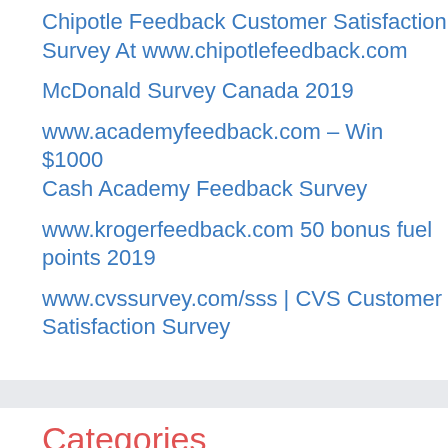Chipotle Feedback Customer Satisfaction Survey At www.chipotlefeedback.com
McDonald Survey Canada 2019
www.academyfeedback.com – Win $1000 Cash Academy Feedback Survey
www.krogerfeedback.com 50 bonus fuel points 2019
www.cvssurvey.com/sss | CVS Customer Satisfaction Survey
Categories